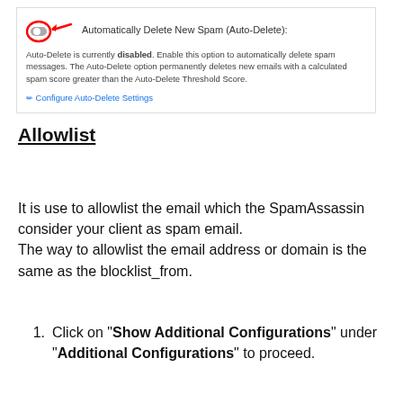[Figure (screenshot): UI screenshot showing a toggle switch (circled in red with a red arrow annotation) for 'Automatically Delete New Spam (Auto-Delete):', description text that Auto-Delete is currently disabled, and a 'Configure Auto-Delete Settings' link.]
Allowlist
It is use to allowlist the email which the SpamAssassin consider your client as spam email. The way to allowlist the email address or domain is the same as the blocklist_from.
Click on "Show Additional Configurations" under "Additional Configurations" to proceed.